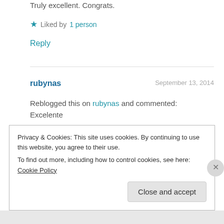Truly excellent. Congrats.
★ Liked by 1 person
Reply
rubynas   September 13, 2014
Reblogged this on rubynas and commented:
Excelente
★ Like
Privacy & Cookies: This site uses cookies. By continuing to use this website, you agree to their use.
To find out more, including how to control cookies, see here: Cookie Policy
Close and accept